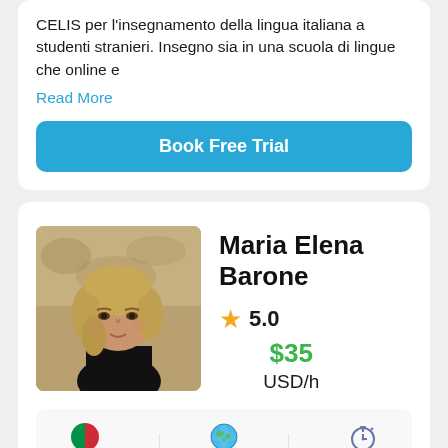CELIS per l'insegnamento della lingua italiana a studenti stranieri. Insegno sia in una scuola di lingue che online e
Read More
Book Free Trial
Maria Elena Barone
⭐ 5.0
$35 USD/h
Teaches Italian
From Italy
Lessons 143